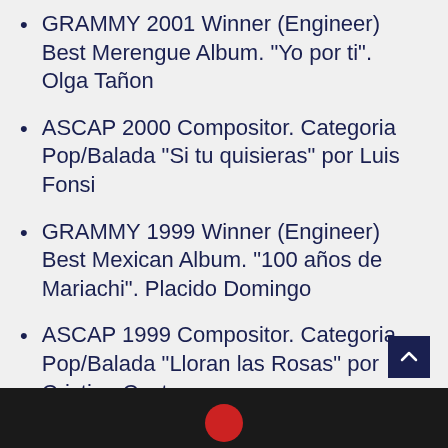GRAMMY 2001 Winner (Engineer) Best Merengue Album. “Yo por ti”. Olga Tañon
ASCAP 2000 Compositor. Categoria Pop/Balada “Si tu quisieras” por Luis Fonsi
GRAMMY 1999 Winner (Engineer) Best Mexican Album. “100 años de Mariachi”. Placido Domingo
ASCAP 1999 Compositor. Categoria Pop/Balada “Lloran las Rosas” por Cristian Castro